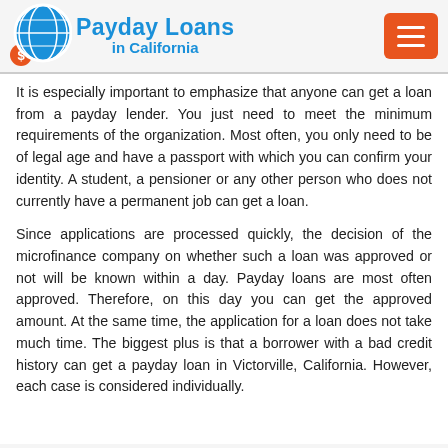Payday Loans in California
It is especially important to emphasize that anyone can get a loan from a payday lender. You just need to meet the minimum requirements of the organization. Most often, you only need to be of legal age and have a passport with which you can confirm your identity. A student, a pensioner or any other person who does not currently have a permanent job can get a loan.
Since applications are processed quickly, the decision of the microfinance company on whether such a loan was approved or not will be known within a day. Payday loans are most often approved. Therefore, on this day you can get the approved amount. At the same time, the application for a loan does not take much time. The biggest plus is that a borrower with a bad credit history can get a payday loan in Victorville, California. However, each case is considered individually.